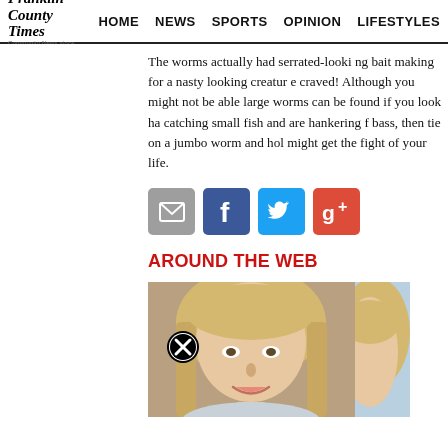Franklin County Times | HOME | NEWS | SPORTS | OPINION | LIFESTYLES
The worms actually had serrated-looking bait making for a nasty looking creature craved! Although you might not be able large worms can be found if you look ha catching small fish and are hankering f bass, then tie on a jumbo worm and hol might get the fight of your life.
[Figure (other): Social sharing icons: email (grey), Facebook (blue), Twitter (cyan), Google+ (red)]
AROUND THE WEB
[Figure (photo): Headshot of a blonde woman smiling, with a close button overlay icon, and a partial second blonde woman headshot to the right]